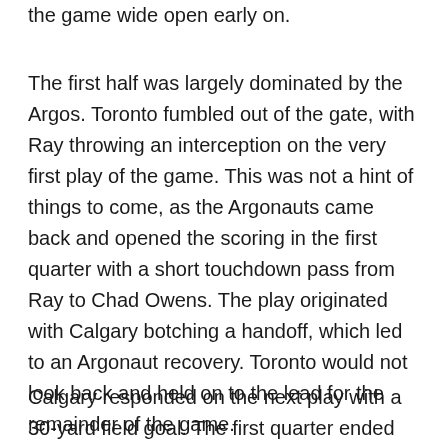the game wide open early on.
The first half was largely dominated by the Argos. Toronto fumbled out of the gate, with Ray throwing an interception on the very first play of the game. This was not a hint of things to come, as the Argonauts came back and opened the scoring in the first quarter with a short touchdown pass from Ray to Chad Owens. The play originated with Calgary botching a handoff, which led to an Argonaut recovery. Toronto would not look back and held on to the lead for the remainder of the game.
Calgary responded on the next play with a 30-yard field goal. The first quarter ended with Toronto